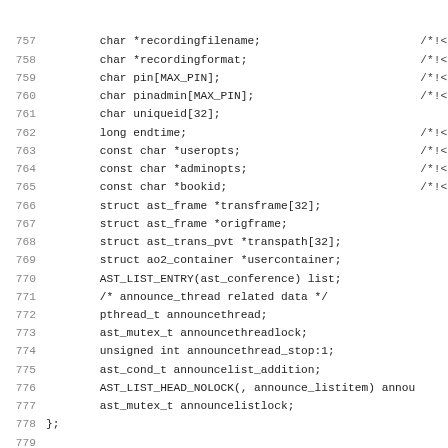[Figure (screenshot): Source code listing showing C struct members and declarations, lines 757-788+, with line numbers on the left, code in the center, and partial Doxygen-style comments on the right.]